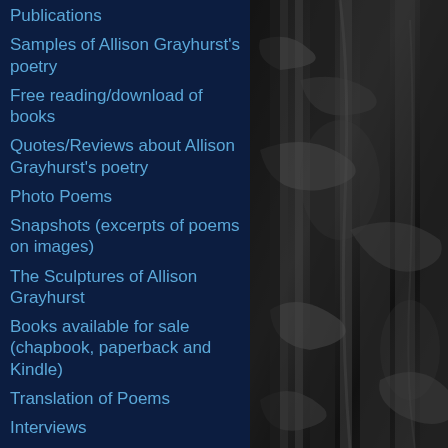[Figure (photo): Dark black and white close-up photograph of tree bark with peeling layers, forming the right-side background of the page.]
Publications
Samples of Allison Grayhurst's poetry
Free reading/download of books
Quotes/Reviews about Allison Grayhurst's poetry
Photo Poems
Snapshots (excerpts of poems on images)
The Sculptures of Allison Grayhurst
Books available for sale (chapbook, paperback and Kindle)
Translation of Poems
Interviews
Links
Anthologies/Journals Available on Amazon, Goodreads, Lulu,